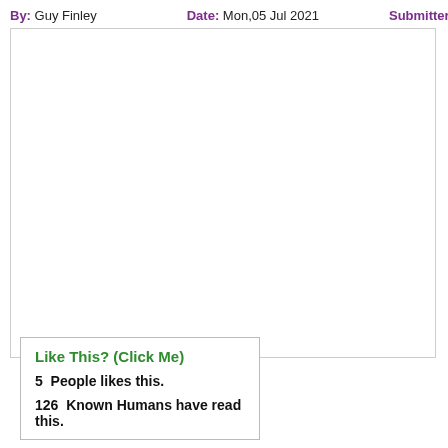By: Guy Finley   Date: Mon,05 Jul 2021   Submitter: Life of Lea
Like This? (Click Me)
5  People likes this.
126  Known Humans have read this.